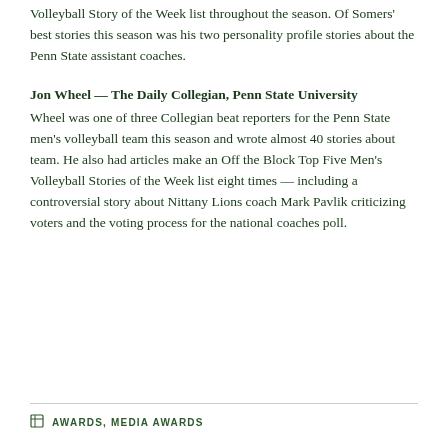Volleyball Story of the Week list throughout the season. Of Somers' best stories this season was his two personality profile stories about the Penn State assistant coaches.
Jon Wheel — The Daily Collegian, Penn State University
Wheel was one of three Collegian beat reporters for the Penn State men's volleyball team this season and wrote almost 40 stories about team. He also had articles make an Off the Block Top Five Men's Volleyball Stories of the Week list eight times — including a controversial story about Nittany Lions coach Mark Pavlik criticizing voters and the voting process for the national coaches poll.
AWARDS, MEDIA AWARDS